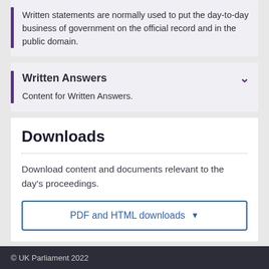Written statements are normally used to put the day-to-day business of government on the official record and in the public domain.
Written Answers
Content for Written Answers.
Downloads
Download content and documents relevant to the day's proceedings.
PDF and HTML downloads
© UK Parliament 2022